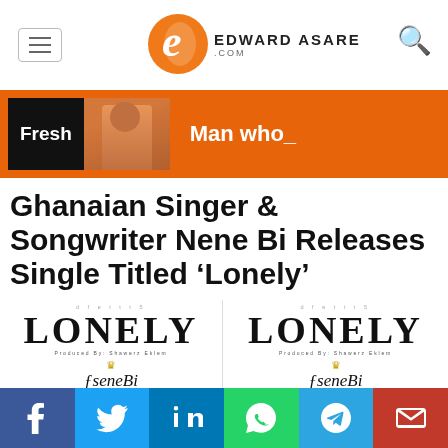EDWARD ASARE .COM
[Figure (illustration): Orange banner with Fresh label and man photo, text: Man who_]
Ghanaian Singer & Songwriter Nene Bi Releases Single Titled ‘Lonely’
[Figure (photo): Two side-by-side album art images for Nene Bi's single 'Lonely', produced by Shawerz Eklem, with NeneBi logo and crown]
[Figure (infographic): Social share bar with Facebook, Twitter, LinkedIn, WhatsApp, Telegram, Email buttons]